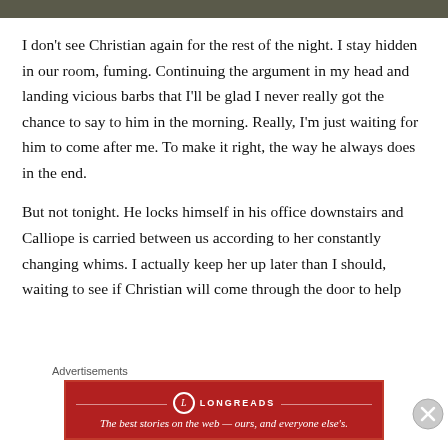[Figure (photo): Partial photo strip at top of page, cropped]
I don't see Christian again for the rest of the night. I stay hidden in our room, fuming. Continuing the argument in my head and landing vicious barbs that I'll be glad I never really got the chance to say to him in the morning. Really, I'm just waiting for him to come after me. To make it right, the way he always does in the end.
But not tonight. He locks himself in his office downstairs and Calliope is carried between us according to her constantly changing whims. I actually keep her up later than I should, waiting to see if Christian will come through the door to help
Advertisements
[Figure (infographic): Longreads advertisement: red banner with Longreads logo and tagline 'The best stories on the web — ours, and everyone else's.']